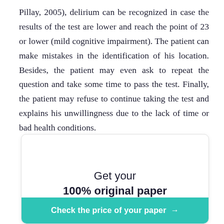Pillay, 2005), delirium can be recognized in case the results of the test are lower and reach the point of 23 or lower (mild cognitive impairment). The patient can make mistakes in the identification of his location. Besides, the patient may even ask to repeat the question and take some time to pass the test. Finally, the patient may refuse to continue taking the test and explains his unwillingness due to the lack of time or bad health conditions.
[Figure (other): Promotional card with text 'Get your 100% original paper' and a teal call-to-action button 'Check the price of your paper →']